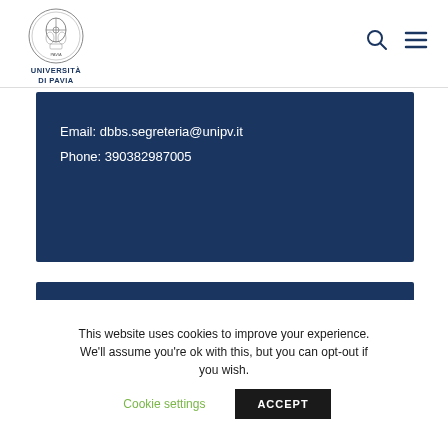UNIVERSITÀ DI PAVIA
Email: dbbs.segreteria@unipv.it
Phone: 390382987005
Education Director Office
This website uses cookies to improve your experience. We'll assume you're ok with this, but you can opt-out if you wish. Cookie settings ACCEPT